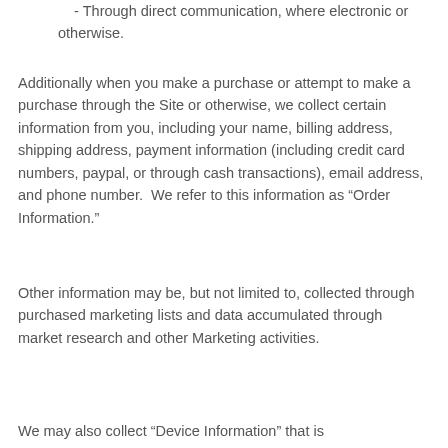- Through direct communication, where electronic or otherwise.
Additionally when you make a purchase or attempt to make a purchase through the Site or otherwise, we collect certain information from you, including your name, billing address, shipping address, payment information (including credit card numbers, paypal, or through cash transactions), email address, and phone number.  We refer to this information as “Order Information.”
Other information may be, but not limited to, collected through purchased marketing lists and data accumulated through market research and other Marketing activities.
We may also collect “Device Information” that is